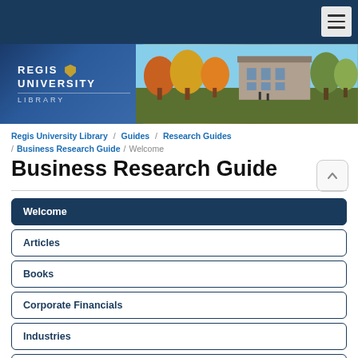[Figure (screenshot): Regis University Library website header with dark navy top bar containing hamburger menu button, and banner image showing Regis University Library logo on blue background with campus photo on right]
Regis University Library / Guides / Research Guides / Business Research Guide / Welcome
Business Research Guide
Welcome
Articles
Books
Corporate Financials
Industries
Directories